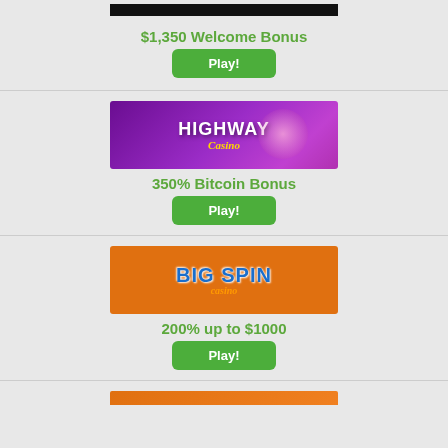[Figure (illustration): Partial top of a casino banner (black background), cropped at top of page]
$1,350 Welcome Bonus
Play!
[Figure (illustration): Highway Casino banner with purple gradient background, white bold HIGHWAY text and gold italic Casino text]
350% Bitcoin Bonus
Play!
[Figure (illustration): Big Spin Casino banner with orange background, blue bold BIG SPIN text and orange italic casino text]
200% up to $1000
Play!
[Figure (illustration): Partial bottom of another casino banner visible at bottom of page]